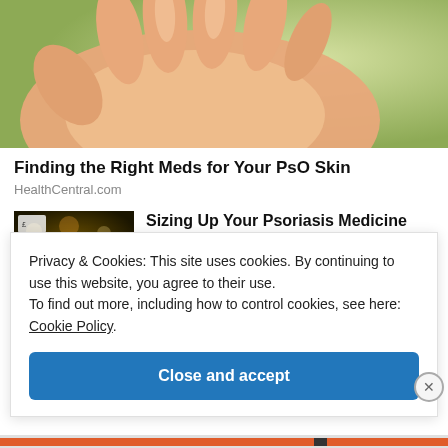[Figure (photo): Close-up photo of an open hand palm facing up against a blurred green background — related to psoriasis skin condition.]
Finding the Right Meds for Your PsO Skin
HealthCentral.com
[Figure (photo): Thumbnail image showing a blurred indoor scene with bokeh lights, associated with a psoriasis medicine article.]
Sizing Up Your Psoriasis Medicine
Privacy & Cookies: This site uses cookies. By continuing to use this website, you agree to their use.
To find out more, including how to control cookies, see here: Cookie Policy
Close and accept